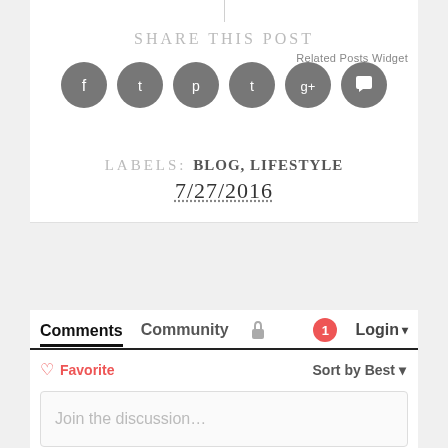Related Posts Widget
Share this Post
[Figure (illustration): Row of six circular gray social media icon buttons: Facebook, Twitter, Pinterest, Tumblr, Google+, and a speech bubble/comment icon]
Labels: Blog, Lifestyle
7/27/2016
Comments  Community  [lock icon]  [1 notification]  Login
♡ Favorite
Sort by Best
Join the discussion...
LOG IN WITH